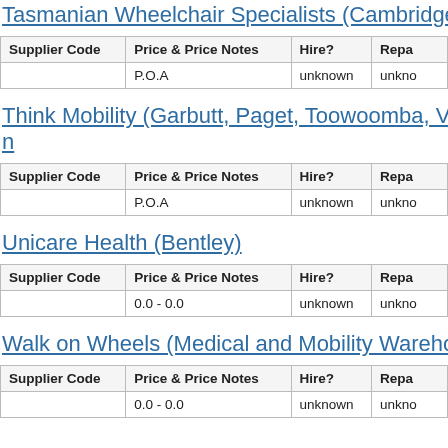Tasmanian Wheelchair Specialists (Cambridge)
| Supplier Code | Price & Price Notes | Hire? | Repa |
| --- | --- | --- | --- |
|  | P.O.A | unknown | unkno |
Think Mobility (Garbutt, Paget, Toowoomba, Virgin
| Supplier Code | Price & Price Notes | Hire? | Repa |
| --- | --- | --- | --- |
|  | P.O.A | unknown | unkno |
Unicare Health (Bentley)
| Supplier Code | Price & Price Notes | Hire? | Repa |
| --- | --- | --- | --- |
|  | 0.0 - 0.0 | unknown | unkno |
Walk on Wheels (Medical and Mobility Warehouse
| Supplier Code | Price & Price Notes | Hire? | Repa |
| --- | --- | --- | --- |
|  | 0.0 - 0.0 | unknown | unkno |